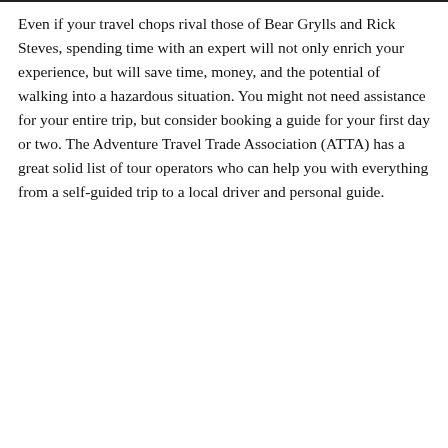Even if your travel chops rival those of Bear Grylls and Rick Steves, spending time with an expert will not only enrich your experience, but will save time, money, and the potential of walking into a hazardous situation. You might not need assistance for your entire trip, but consider booking a guide for your first day or two. The Adventure Travel Trade Association (ATTA) has a great solid list of tour operators who can help you with everything from a self-guided trip to a local driver and personal guide.